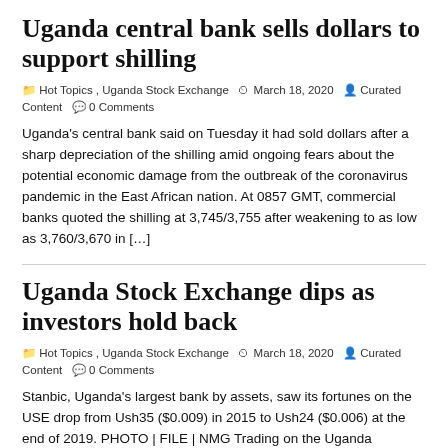Uganda central bank sells dollars to support shilling
🗂 Hot Topics , Uganda Stock Exchange  🕐 March 18, 2020  👤 Curated Content  💬 0 Comments
Uganda's central bank said on Tuesday it had sold dollars after a sharp depreciation of the shilling amid ongoing fears about the potential economic damage from the outbreak of the coronavirus pandemic in the East African nation. At 0857 GMT, commercial banks quoted the shilling at 3,745/3,755 after weakening to as low as 3,760/3,670 in […]
Uganda Stock Exchange dips as investors hold back
🗂 Hot Topics , Uganda Stock Exchange  🕐 March 18, 2020  👤 Curated Content  💬 0 Comments
Stanbic, Uganda's largest bank by assets, saw its fortunes on the USE drop from Ush35 ($0.009) in 2015 to Ush24 ($0.006) at the end of 2019. PHOTO | FILE | NMG Trading on the Uganda